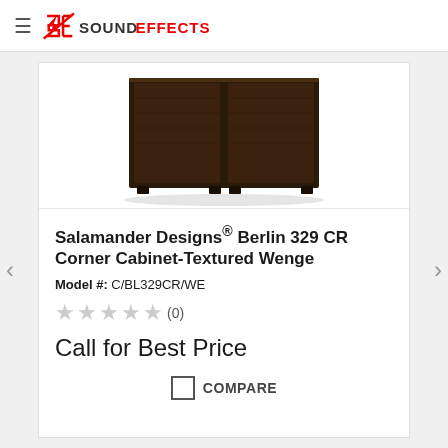Sound Effects logo and navigation
[Figure (photo): Dark brown textured wenge corner cabinet (Salamander Designs Berlin 329 CR), bottom portion visible, showing two door panels with wood grain texture and small feet.]
Salamander Designs® Berlin 329 CR Corner Cabinet-Textured Wenge
Model #: C/BL329CR/WE
★★★★★ (0)
Call for Best Price
COMPARE